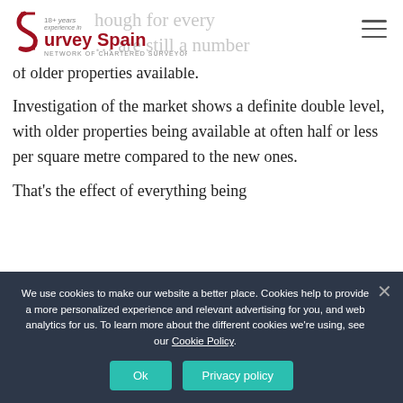Survey Spain – 18+ years experience in, Network of Chartered Surveyors
…though for every … are still a number of older properties available.
Investigation of the market shows a definite double level, with older properties being available at often half or less per square metre compared to the new ones.
That's the effect of everything being…
We use cookies to make our website a better place. Cookies help to provide a more personalized experience and relevant advertising for you, and web analytics for us. To learn more about the different cookies we're using, see our Cookie Policy.